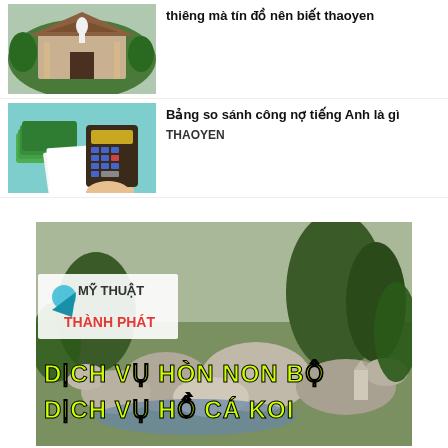[Figure (photo): Thumbnail of a temple/pagoda with a white statue and lush greenery]
thiêng mà tín đồ nên biết thaoyen
[Figure (photo): Thumbnail of money bills, a calculator, and documents on a teal background]
Bảng so sánh công nợ tiếng Anh là gì
THAOYEN
[Figure (photo): Advertisement banner with a garden/rock landscape and text: MỸ THUẬT THÀNH PHÁT, DỊCH VỤ HÒN NON BỘ, DỊCH VỤ HỒ CÁ KOI]